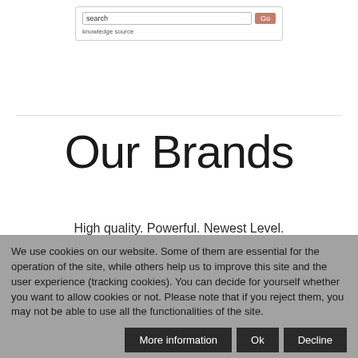[Figure (screenshot): Search box with text input field and Go button, and 'knowledge source' label below]
Our Brands
High quality. Powerful. Newest Level.
We use cookies on our website. Some of them are essential for the operation of the site, while others help us to improve this site and the user experience (tracking cookies). You can decide for yourself whether you want to allow cookies or not. Please note that if you reject them, you may not be able to use all the functionalities of the site.
More information  Ok  Decline